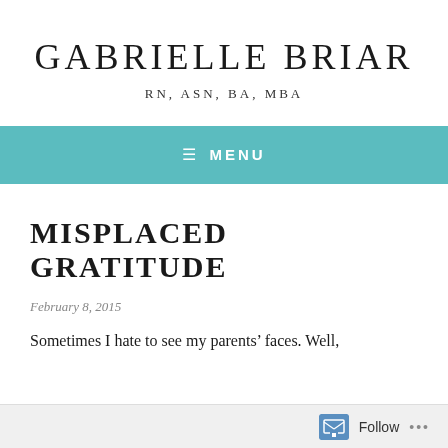GABRIELLE BRIAR
RN, ASN, BA, MBA
≡  MENU
MISPLACED GRATITUDE
February 8, 2015
Sometimes I hate to see my parents' faces. Well,
Follow